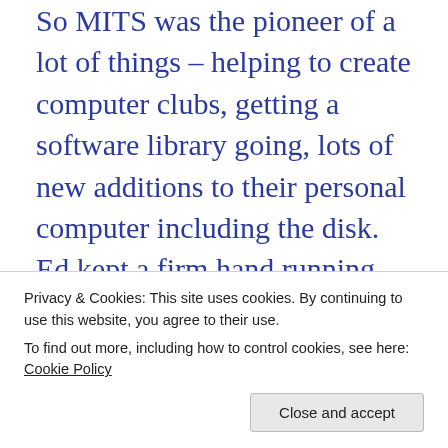So MITS was the pioneer of a lot of things – helping to create computer clubs, getting a software library going, lots of new additions to their personal computer including the disk. Ed kept a firm hand running the company but was frustrated by some of the complexity. He decided to sell the company and reached a deal with PERTEC, a California company that did magnetic tape stuff mostly.
I was surprised when Ed decided to move back to Georgia and give up working in the computer field. Microsoft had a dispute with PERTEC where they interpreted our license with them...
Privacy & Cookies: This site uses cookies. By continuing to use this website, you agree to their use.
To find out more, including how to control cookies, see here: Cookie Policy